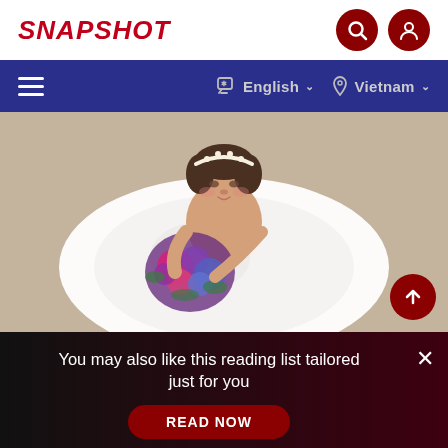SNAPSHOT
[Figure (screenshot): Navigation bar with hamburger menu, English language selector with chat bubble icon, and Vietnam location selector with pin icon on dark blue background]
[Figure (photo): Overhead/bird's-eye view photo of a bride in a white wedding dress holding a colorful bouquet of purple, pink, and blue flowers, wearing a pearl headband, looking up at the camera]
You may also like this reading list tailored just for you
READ NOW